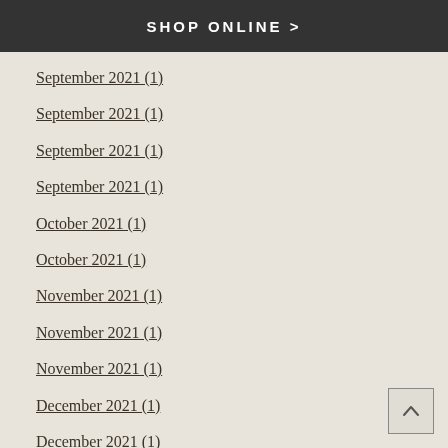SHOP ONLINE >
September 2021 (1)
September 2021 (1)
September 2021 (1)
September 2021 (1)
October 2021 (1)
October 2021 (1)
November 2021 (1)
November 2021 (1)
November 2021 (1)
December 2021 (1)
December 2021 (1)